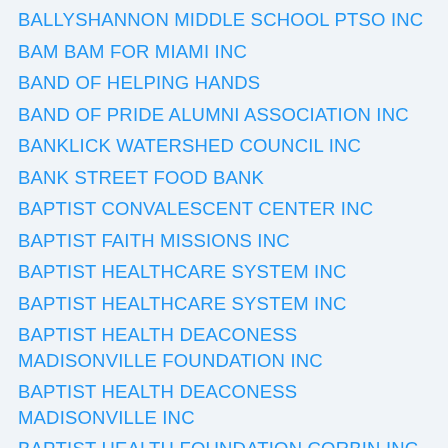BALLYSHANNON MIDDLE SCHOOL PTSO INC
BAM BAM FOR MIAMI INC
BAND OF HELPING HANDS
BAND OF PRIDE ALUMNI ASSOCIATION INC
BANKLICK WATERSHED COUNCIL INC
BANK STREET FOOD BANK
BAPTIST CONVALESCENT CENTER INC
BAPTIST FAITH MISSIONS INC
BAPTIST HEALTHCARE SYSTEM INC
BAPTIST HEALTHCARE SYSTEM INC
BAPTIST HEALTH DEACONESS MADISONVILLE FOUNDATION INC
BAPTIST HEALTH DEACONESS MADISONVILLE INC
BAPTIST HEALTH FOUNDATION CORBIN INC
BAPTIST HEALTH FOUNDATION GREATER LOUISVILLE INC